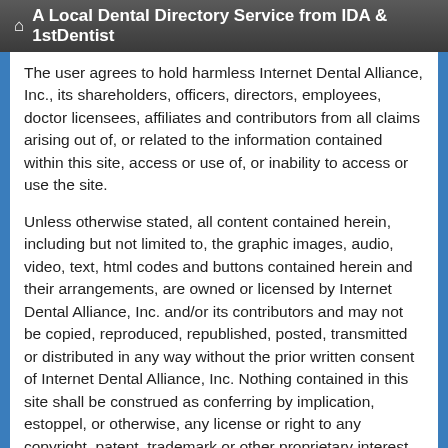A Local Dental Directory Service from IDA & 1stDentist
The user agrees to hold harmless Internet Dental Alliance, Inc., its shareholders, officers, directors, employees, doctor licensees, affiliates and contributors from all claims arising out of, or related to the information contained within this site, access or use of, or inability to access or use the site.
Unless otherwise stated, all content contained herein, including but not limited to, the graphic images, audio, video, text, html codes and buttons contained herein and their arrangements, are owned or licensed by Internet Dental Alliance, Inc. and/or its contributors and may not be copied, reproduced, republished, posted, transmitted or distributed in any way without the prior written consent of Internet Dental Alliance, Inc. Nothing contained in this site shall be construed as conferring by implication, estoppel, or otherwise, any license or right to any copyright, patent, trademark or other proprietary interest of Internet Dental Alliance, Inc., doctor licensee or any third party. All trademarks used or referred to in this Website are the property of the Internet Dental Alliance, Inc. and/or their respective owners.